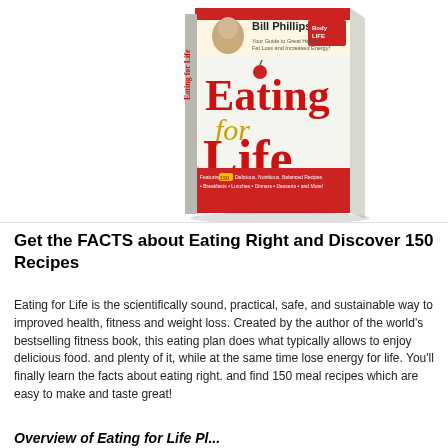[Figure (photo): Book cover of 'Eating for Life' by Bill Phillips, featuring a 3D rendered book with red and gold title text, author photo, and Body for Life branding]
Get the FACTS about Eating Right and Discover 150 Recipes
Eating for Life is the scientifically sound, practical, safe, and sustainable way to improved health, fitness and weight loss. Created by the author of the world's bestselling fitness book, this eating plan does what typically allows you to enjoy delicious food. and plenty of it, while at the same time lose weight and have energy for life. You'll finally learn the facts about eating right. and you'll also find 150 meal recipes which are easy to make and taste great!
Overview of Eating for Life Plan...